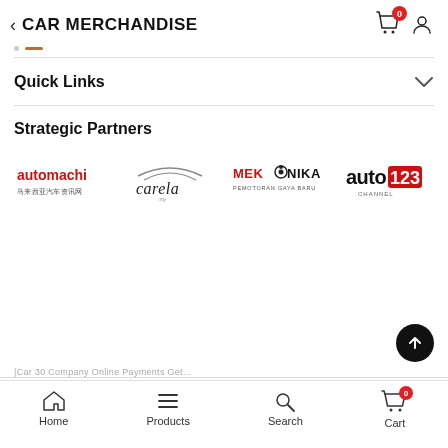CAR MERCHANDISE
Quick Links
Strategic Partners
[Figure (logo): Four partner logos in a row: automachi (red text with Chinese characters), carela (stylized car arc logo), MEKANIKA (red and black text with gear icon, PEMOTORAN GAYA BARU), auto123 channel (black and red text)]
Home  Products  Search  Cart